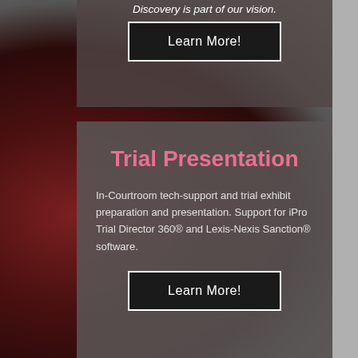Discovery is part of our vision.
[Figure (other): Learn More button with white border on dark background, top section]
Trial Presentation
In-Courtroom tech-support and trial exhibit preparation and presentation. Support for iPro Trial Director 360® and Lexis-Nexis Sanction® software.
[Figure (other): Learn More button with white border on dark background, bottom section]